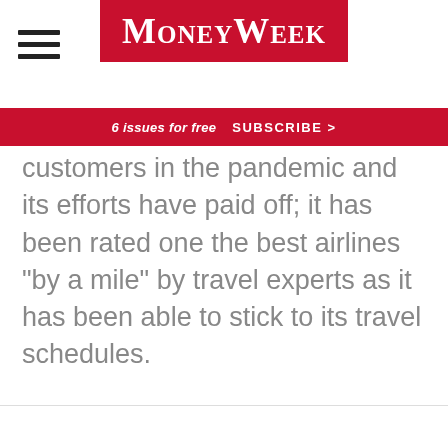MoneyWeek
6 issues for free   SUBSCRIBE >
customers in the pandemic and its efforts have paid off; it has been rated one the best airlines “by a mile” by travel experts as it has been able to stick to its travel schedules.